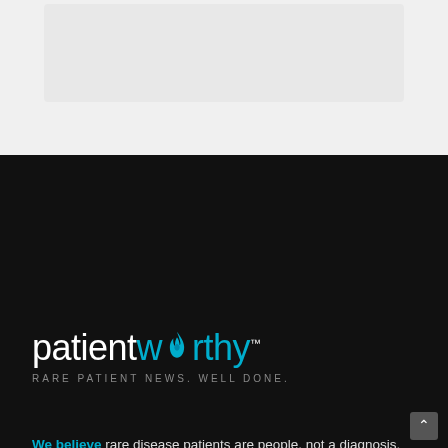[Figure (logo): PatientWorthy logo with flame icon and tagline RARE PATIENT NEWS. WELL DONE.]
We believe rare disease patients are people, not a diagnosis. Through education, awareness and some humor, we help patients, caregivers and support persons by providing relevant and often inspirational news and stories.
Our goals are to share stories, cultivate strong community, provide the latest medical findings, connect people and pioneer production of patient worthy information. Help us attain these goals by telling us a little bit about yourself!